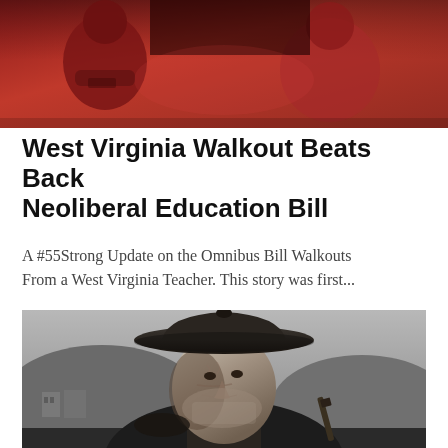[Figure (photo): Color photograph of people wearing red shirts, cropped at top of page]
West Virginia Walkout Beats Back Neoliberal Education Bill
A #55Strong Update on the Omnibus Bill Walkouts From a West Virginia Teacher. This story was first...
[Figure (photo): Black and white photograph of an elderly man wearing a wide-brimmed hat, with hills and buildings in the background]